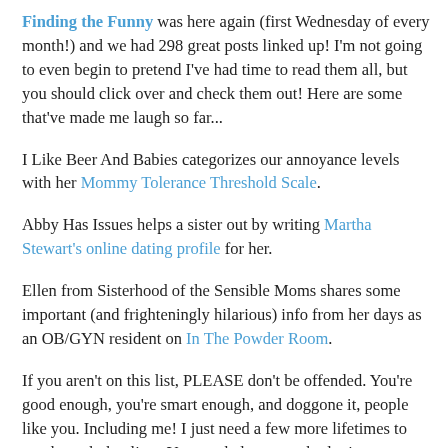tutorial for a really useful way to ruin a pair of gloves.
Finding the Funny was here again (first Wednesday of every month!) and we had 298 great posts linked up! I'm not going to even begin to pretend I've had time to read them all, but you should click over and check them out! Here are some that've made me laugh so far...
I Like Beer And Babies categorizes our annoyance levels with her Mommy Tolerance Threshold Scale.
Abby Has Issues helps a sister out by writing Martha Stewart's online dating profile for her.
Ellen from Sisterhood of the Sensible Moms shares some important (and frighteningly hilarious) info from her days as an OB/GYN resident on In The Powder Room.
If you aren't on this list, PLEASE don't be offended. You're good enough, you're smart enough, and doggone it, people like you. Including me! I just need a few more lifetimes to get through that list... You can help me out by letting me know in